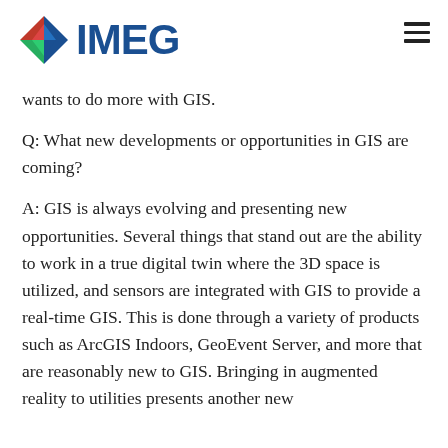[Figure (logo): IMEG company logo with diamond-shaped icon in red, green, blue and dark blue colors, followed by IMEG text in dark blue, with hamburger menu icon on the right]
wants to do more with GIS.
Q: What new developments or opportunities in GIS are coming?
A: GIS is always evolving and presenting new opportunities. Several things that stand out are the ability to work in a true digital twin where the 3D space is utilized, and sensors are integrated with GIS to provide a real-time GIS. This is done through a variety of products such as ArcGIS Indoors, GeoEvent Server, and more that are reasonably new to GIS. Bringing in augmented reality to utilities presents another new topic in GIS that is still in its infancy, but think it will be